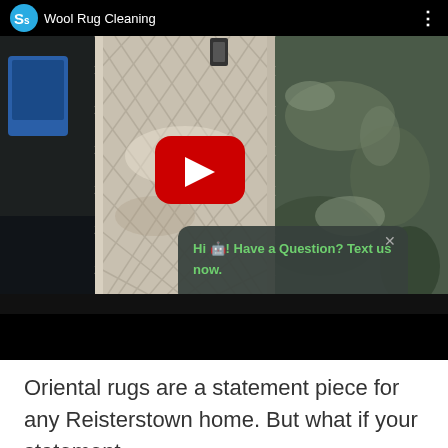[Figure (screenshot): YouTube video thumbnail showing wool rug cleaning process with foam on a rug cleaning surface. A YouTube play button is visible in the center. A chat bubble overlay reads 'Hi 🤖! Have a Question? Text us now.' The video header shows a channel icon and title 'Wool Rug Cleaning'.]
Oriental rugs are a statement piece for any Reisterstown home. But what if your statement